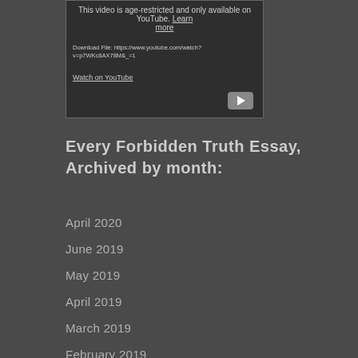[Figure (screenshot): Embedded YouTube video player showing age-restricted message with 'Learn more' and 'Watch on YouTube' links, and a play button icon. Download File URL shown: https://www.youtube.com/watch?v=p7WKc8AX78M&_=1]
Every Forbidden Truth Essay, Archived by month:
April 2020
June 2019
May 2019
April 2019
March 2019
February 2019
December 2018